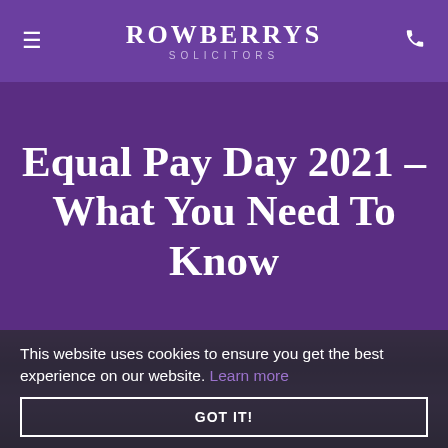ROWBERRYS SOLICITORS
Equal Pay Day 2021 – What You Need To Know
This website uses cookies to ensure you get the best experience on our website. Learn more
GOT IT!